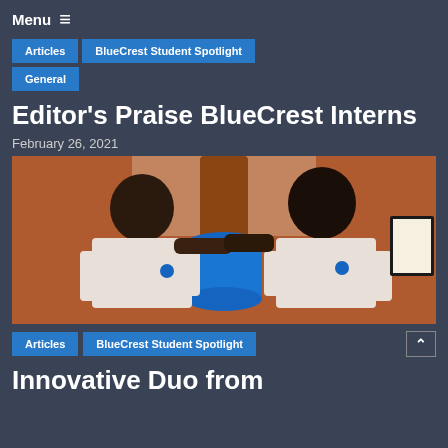Menu ≡
Articles
BlueCrest Student Spotlight
General
Editor's Praise BlueCrest Interns
February 26, 2021
[Figure (photo): Two young men in white BlueCrest t-shirts standing next to a blue cylindrical object in a brick-walled room with framed certificates in the background]
Articles
BlueCrest Student Spotlight
Innovative Duo from